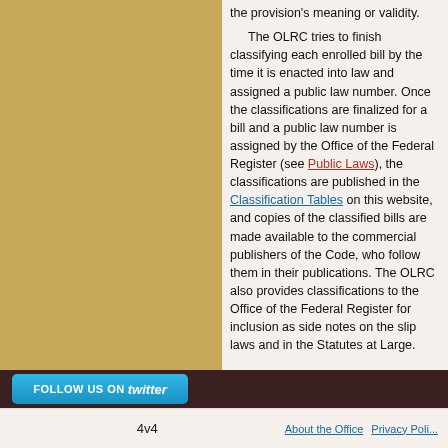the provision's meaning or validity.

The OLRC tries to finish classifying each enrolled bill by the time it is enacted into law and assigned a public law number. Once the classifications are finalized for a bill and a public law number is assigned by the Office of the Federal Register (see Public Laws), the classifications are published in the Classification Tables on this website, and copies of the classified bills are made available to the commercial publishers of the Code, who follow them in their publications. The OLRC also provides classifications to the Office of the Federal Register for inclusion as side notes on the slip laws and in the Statutes at Large.
[Figure (other): Follow us on Twitter button with blue rounded rectangle and Twitter bird logo]
4v4   About the Office   Privacy Poli...